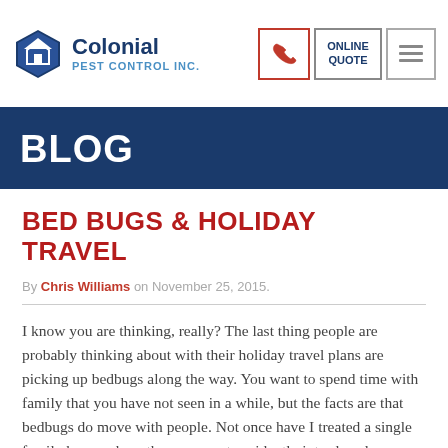Colonial Pest Control Inc. | Phone | Online Quote | Menu
BLOG
BED BUGS & HOLIDAY TRAVEL
By Chris Williams on November 25, 2015.
I know you are thinking, really? The last thing people are probably thinking about with their holiday travel plans are picking up bedbugs along the way. You want to spend time with family that you have not seen in a while, but the facts are that bedbugs do move with people. Not once have I treated a single family home where they were not accidently introduced somehow. Someone traveled